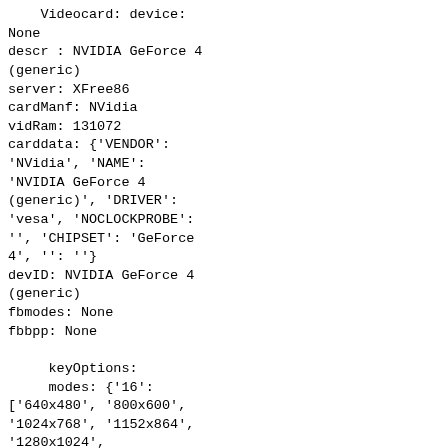Videocard: device:
None
descr : NVIDIA GeForce 4
(generic)
server: XFree86
cardManf: NVidia
vidRam: 131072
carddata: {'VENDOR':
'NVidia', 'NAME':
'NVIDIA GeForce 4
(generic)', 'DRIVER':
'vesa', 'NOCLOCKPROBE':
'', 'CHIPSET': 'GeForce
4', '': ''}
devID: NVIDIA GeForce 4
(generic)
fbmodes: None
fbbpp: None

     keyOptions:
     modes: {'16':
['640x480', '800x600',
'1024x768', '1152x864',
'1280x1024',
'1400x1050', '1600x1
200', '1920x1440',
'2048x1536'], '32':
['640x480', '800x600',
'1024x768', '1152x864',
'1280x1024',
'1400x1050', '1600x1